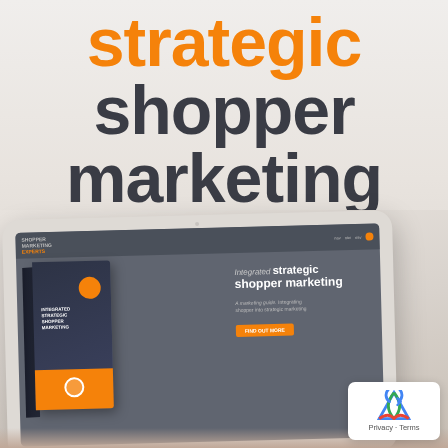strategic shopper marketing
[Figure (photo): A tablet device displaying a website for 'Shopper Marketing Experts' with a 3D book mockup of 'Integrated Strategic Shopper Marketing'. A hand holds the tablet against a light neutral background.]
Privacy · Terms